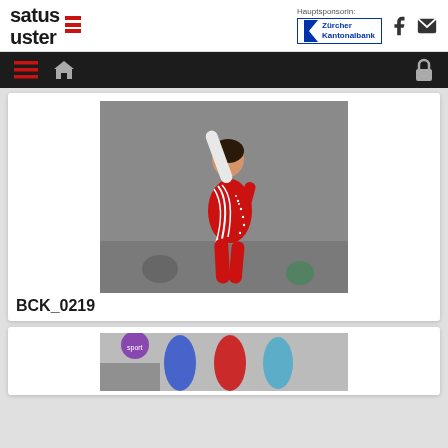satus uster | Hauptsponsorin: Zürcher Kantonalbank
[Figure (photo): Young female gymnast in red long-sleeve leotard with white decorative stripes, arm raised overhead, performing gymnastics routine]
BCK_0219
[Figure (photo): Partial view of gymnasts at a competition, colorful leotards visible]